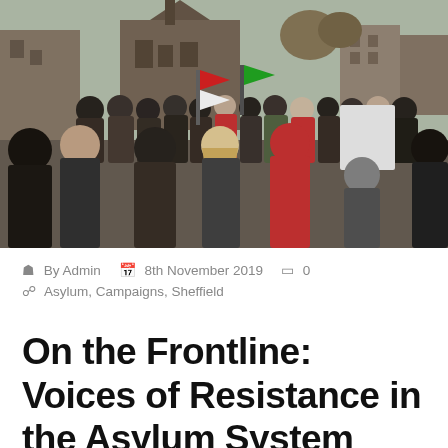[Figure (photo): A large outdoor protest or demonstration with a crowd of people viewed from behind. Several individuals hold flags and signs including a white blank placard. Buildings and bare trees are visible in the background. The scene is set in an urban environment, likely Sheffield, UK.]
By Admin   8th November 2019   0   Asylum, Campaigns, Sheffield
On the Frontline: Voices of Resistance in the Asylum System